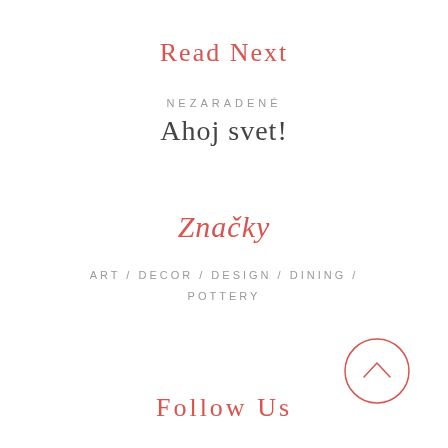Read Next
NEZARADENÉ
Ahoj svet!
Značky
ART / DECOR / DESIGN / DINING / POTTERY
[Figure (illustration): Circular scroll-to-top button with upward chevron arrow, rendered as a circle outline in coral/red color]
Follow Us